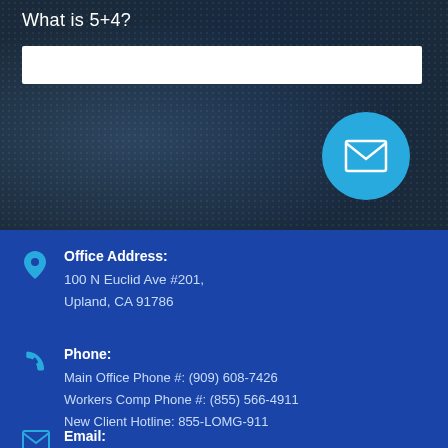What is 5+4?
[Figure (other): White text input field on dark blue background]
[Figure (other): Cyan circular send/email button with envelope icon]
Office Address:
100 N Euclid Ave #201,
Upland, CA 91786
Phone:
Main Office Phone #: (909) 608-7426
Workers Comp Phone #: (855) 566-4911
New Client Hotline: 855-LOMG-911
Email: